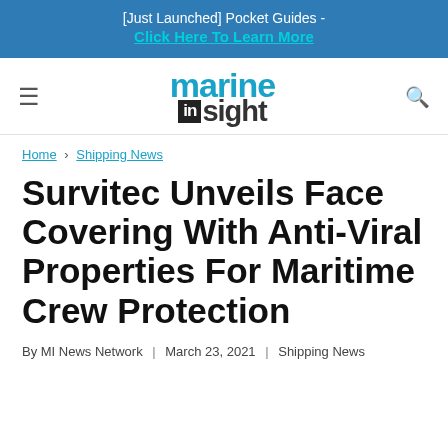[Just Launched] Pocket Guides - Click Here To Learn More
[Figure (logo): Marine Insight website logo with hamburger menu and search icon]
Home › Shipping News
Survitec Unveils Face Covering With Anti-Viral Properties For Maritime Crew Protection
By MI News Network | March 23, 2021 | Shipping News